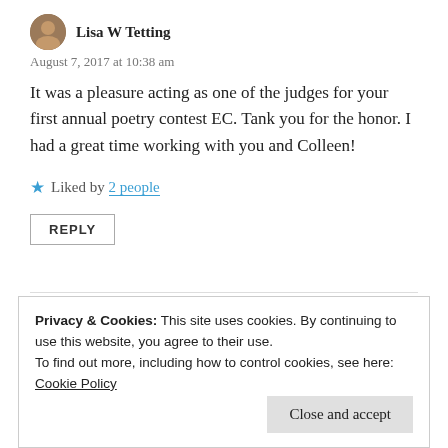Lisa W Tetting
August 7, 2017 at 10:38 am
It was a pleasure acting as one of the judges for your first annual poetry contest EC. Tank you for the honor. I had a great time working with you and Colleen!
★ Liked by 2 people
REPLY
Privacy & Cookies: This site uses cookies. By continuing to use this website, you agree to their use.
To find out more, including how to control cookies, see here: Cookie Policy
Close and accept